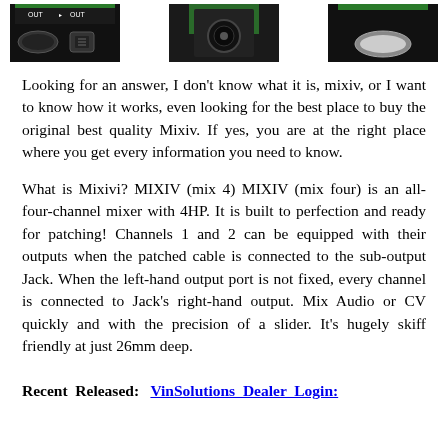[Figure (photo): Three small electronic hardware images arranged in a row: left shows a black panel with 'OUT OUT' labels and two buttons, center shows a dark module with a circular knob, right shows a black panel with an oval button.]
Looking for an answer, I don’t know what it is, mixiv, or I want to know how it works, even looking for the best place to buy the original best quality Mixiv. If yes, you are at the right place where you get every information you need to know.
What is Mixivi? MIXIV (mix 4) MIXIV (mix four) is an all-four-channel mixer with 4HP. It is built to perfection and ready for patching! Channels 1 and 2 can be equipped with their outputs when the patched cable is connected to the sub-output Jack. When the left-hand output port is not fixed, every channel is connected to Jack’s right-hand output. Mix Audio or CV quickly and with the precision of a slider. It’s hugely skiff friendly at just 26mm deep.
Recent Released: VinSolutions Dealer Login: